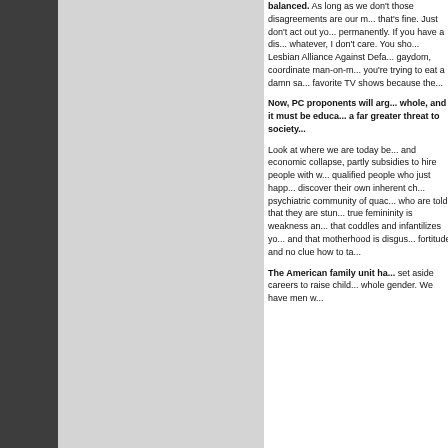balanced. As long as we don't... those disagreements are our m... that's fine. Just don't act out yo... permanently. If you have a dis... whatever, I don't care. You sho... Lesbian Alliance Against Defa... gaydom, coordinate man-on-m... you're trying to eat a damn sa... favorite TV shows because the...
Now, PC proponents will arg... whole, and it must be educa... a far greater threat to society...
Look at where we are today be... and economic collapse, partly ... subsidies to hire people with w... qualified people who just happ... discover their own inherent ch... psychiatric community of quac... who are told that they are stun... true femininity is weakness an... that coddles and infantilizes yo... and that motherhood is disgus... fortitude and no clue how to ta...
The American family unit ha... set aside careers to raise child... whole gender. We have men w...